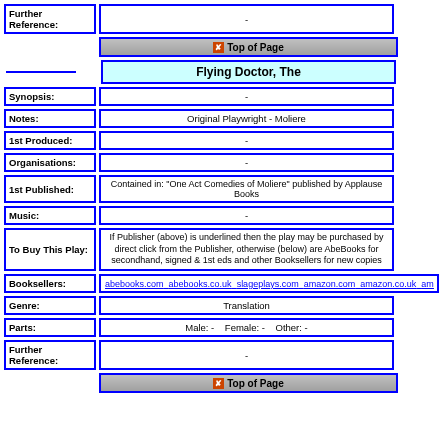| Field | Value |
| --- | --- |
| Further Reference: | - |
|  | Top of Page |
| Flying Doctor, The |  |
| Synopsis: | - |
| Notes: | Original Playwright - Moliere |
| 1st Produced: | - |
| Organisations: | - |
| 1st Published: | Contained in: "One Act Comedies of Moliere" published by Applause Books |
| Music: | - |
| To Buy This Play: | If Publisher (above) is underlined then the play may be purchased by direct click from the Publisher, otherwise (below) are AbeBooks for secondhand, signed & 1st eds and other Booksellers for new copies |
| Booksellers: | abebooks.com  abebooks.co.uk  slageplays.com  amazon.com  amazon.co.uk  am |
| Genre: | Translation |
| Parts: | Male: -    Female: -    Other: - |
| Further Reference: | - |
|  | Top of Page |